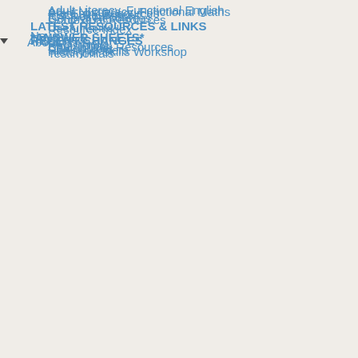Adult Literacy, Functional English
Adult Numeracy, Functional Maths
Pre-Entry Resources
ESOL Resources
ICT Resources
General Resources
Contextual Resources
LATEST RESOURCES & LINKS
Useful Links
Resource Index
News
*ANSWER SHEETS*
Tag Clouds
RECENT CHANGES
About
FAQ / Help
Registering
Contributing Resources
Contributors
Site supporters
History of Skills Workshop
Testimonials